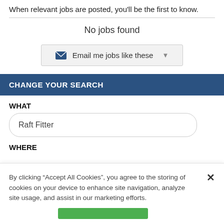When relevant jobs are posted, you'll be the first to know.
No jobs found
[Figure (screenshot): Button: envelope icon followed by 'Email me jobs like these' with a dropdown arrow]
CHANGE YOUR SEARCH
WHAT
Raft Fitter
WHERE
By clicking “Accept All Cookies”, you agree to the storing of cookies on your device to enhance site navigation, analyze site usage, and assist in our marketing efforts.